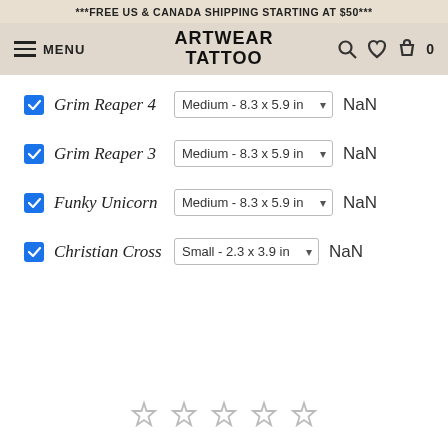***FREE US & CANADA SHIPPING STARTING AT $50***
[Figure (screenshot): Navigation bar with hamburger menu (MENU), ArtWear Tattoo logo, search icon, heart icon, and shopping bag icon with 0]
Grim Reaper 4 | Medium - 8.3 x 5.9 in | NaN
Grim Reaper 3 | Medium - 8.3 x 5.9 in | NaN
Funky Unicorn | Medium - 8.3 x 5.9 in | NaN
Christian Cross | Small - 2.3 x 3.9 in | NaN
[Figure (other): Five empty star rating icons at the bottom of the page]